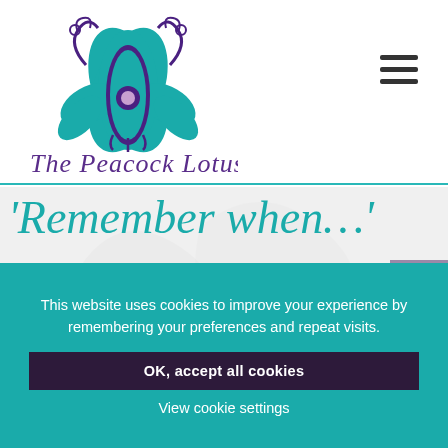[Figure (logo): The Peacock Lotus logo: teal and purple lotus/peacock feather design with cursive text 'The Peacock Lotus' beneath]
[Figure (other): Hamburger menu icon (three horizontal bars) in top right corner]
'Remember when...'
memory quilts &
This website uses cookies to improve your experience by remembering your preferences and repeat visits.
OK, accept all cookies
View cookie settings